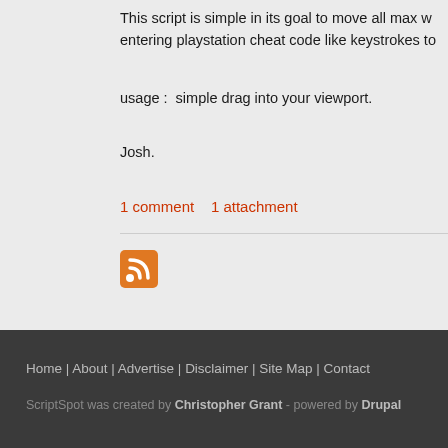This script is simple in its goal to move all max w... entering playstation cheat code like keystrokes to...
usage :  simple drag into your viewport.
Josh.
1 comment    1 attachment
[Figure (other): RSS feed icon - orange square with white RSS signal symbol]
Home | About | Advertise | Disclaimer | Site Map | Contact
ScriptSpot was created by Christopher Grant - powered by Drupal